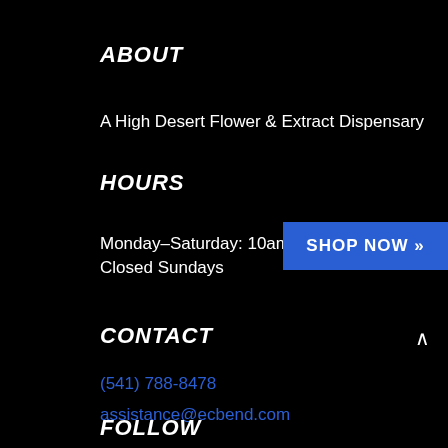ABOUT
A High Desert Flower & Extract Dispensary
HOURS
Monday–Saturday: 10am–7pm
Closed Sundays
[Figure (other): Blue SHOP NOW button with chevron]
CONTACT
(541) 788-8478
assistance@ecbend.com
FOLLOW